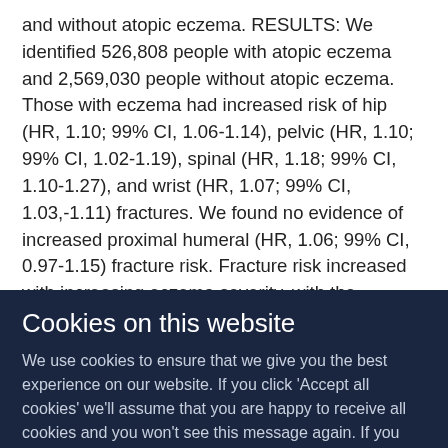and without atopic eczema. RESULTS: We identified 526,808 people with atopic eczema and 2,569,030 people without atopic eczema. Those with eczema had increased risk of hip (HR, 1.10; 99% CI, 1.06-1.14), pelvic (HR, 1.10; 99% CI, 1.02-1.19), spinal (HR, 1.18; 99% CI, 1.10-1.27), and wrist (HR, 1.07; 99% CI, 1.03,-1.11) fractures. We found no evidence of increased proximal humeral (HR, 1.06; 99% CI, 0.97-1.15) fracture risk. Fracture risk increased with increasing eczema severity, with the strongest associations in people with severe eczema (compared with those without) for spinal (HR, 2.09; 99% CI, 1.66-2.65), pelvic (HR, 1.66; 99% CI, 1.26-2.20), and hip (HR, 1.50; 99% CI, 1.30-1.74) fractures. Associations
Cookies on this website
We use cookies to ensure that we give you the best experience on our website. If you click 'Accept all cookies' we'll assume that you are happy to receive all cookies and you won't see this message again. If you click 'Reject all non-essential cookies' only necessary cookies providing